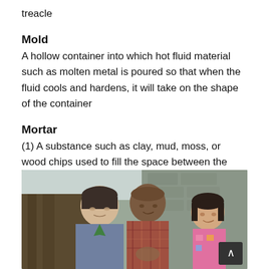treacle
Mold
A hollow container into which hot fluid material such as molten metal is poured so that when the fluid cools and hardens, it will take on the shape of the container
Mortar
(1) A substance such as clay, mud, moss, or wood chips used to fill the space between the logs of a log cabin; (2) A wooden bowl in which grains or spices are crushed with a pestle
[Figure (photo): Three people — a man with dark short hair on the left, a bald man in the middle, and a young girl with dark hair on the right — gathered together indoors, appearing to look at something. Stone wall visible in the background.]